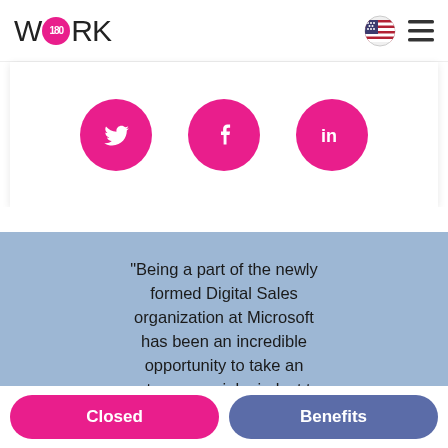[Figure (logo): Work180 logo — stylized W, 180 in pink circle, ORK text]
[Figure (infographic): Three pink circular social media icons: Twitter bird, Facebook f, LinkedIn in]
"Being a part of the newly formed Digital Sales organization at Microsoft has been an incredible opportunity to take an entrepreneurial mindset to a super well-funded start-up org at Microsoft. The
Closed
Benefits